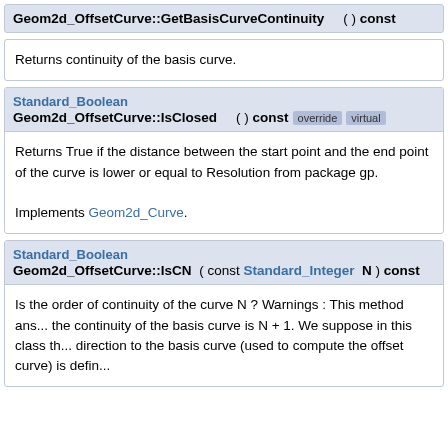Geom2d_OffsetCurve::GetBasisCurveContinuity ( ) const
Returns continuity of the basis curve.
Standard_Boolean Geom2d_OffsetCurve::IsClosed ( ) const override virtual
Returns True if the distance between the start point and the end point of the curve is lower or equal to Resolution from package gp.

Implements Geom2d_Curve.
Standard_Boolean Geom2d_OffsetCurve::IsCN ( const Standard_Integer N ) const
Is the order of continuity of the curve N ? Warnings : This method answers True if the continuity of the basis curve is N + 1. We suppose in this class that direction to the basis curve (used to compute the offset curve) is defi...